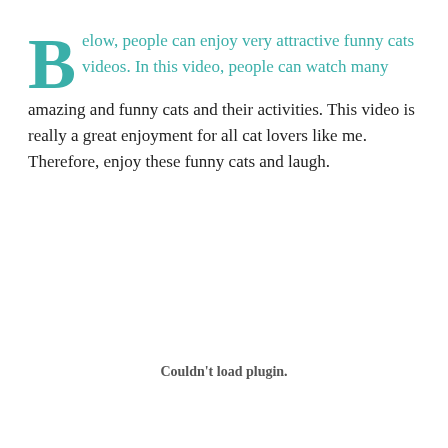Below, people can enjoy very attractive funny cats videos. In this video, people can watch many amazing and funny cats and their activities. This video is really a great enjoyment for all cat lovers like me. Therefore, enjoy these funny cats and laugh.
Couldn't load plugin.